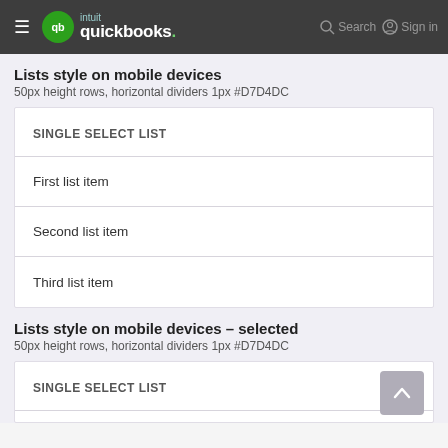QuickBooks navigation bar
Lists style on mobile devices
50px height rows, horizontal dividers 1px #D7D4DC
SINGLE SELECT LIST
First list item
Second list item
Third list item
Lists style on mobile devices – selected
50px height rows, horizontal dividers 1px #D7D4DC
SINGLE SELECT LIST